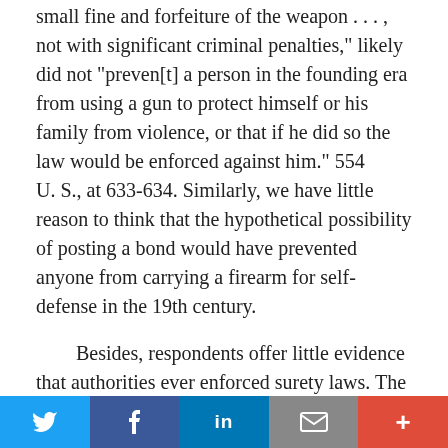small fine and forfeiture of the weapon . . . , not with significant criminal penalties," likely did not "preven[t] a person in the founding era from using a gun to protect himself or his family from violence, or that if he did so the law would be enforced against him." 554 U. S., at 633-634. Similarly, we have little reason to think that the hypothetical possibility of posting a bond would have prevented anyone from carrying a firearm for self-defense in the 19th century.
Besides, respondents offer little evidence that authorities ever enforced surety laws. The only recorded case that we know of involved a justice of the peace declining to require a surety, even when the complainant alleged that the arms-bearer " 'did threaten to beat, wou[n]d, mai[m], and kill' " him. Brief for Professor Robert Leider et al. as Amici Curiae 31 (quoting Grover v. Bullock, No. 185 (Worcester Cty., Aug. 13, 1853)); see E. Ruben & S. Cornell, Firearm Regionalism and
Twitter | Facebook | LinkedIn | Email | More